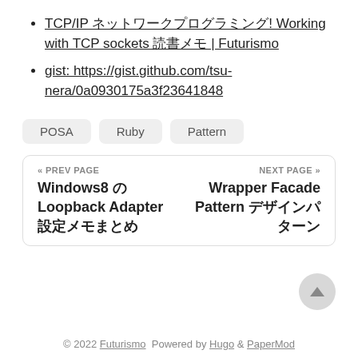TCP/IP ネットワークプログラミング! Working with TCP sockets 読書メモ | Futurismo
gist: https://gist.github.com/tsu-nera/0a0930175a3f23641848
POSA  Ruby  Pattern
« PREV PAGE  Windows8 の Loopback Adapter 設定メモまとめ  NEXT PAGE »  Wrapper Facade Pattern デザインパターン
© 2022 Futurismo  Powered by Hugo & PaperMod